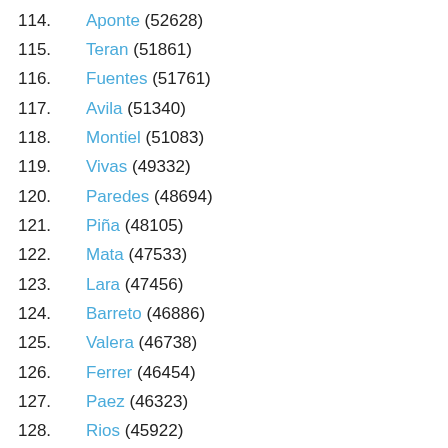114. Aponte (52628)
115. Teran (51861)
116. Fuentes (51761)
117. Avila (51340)
118. Montiel (51083)
119. Vivas (49332)
120. Paredes (48694)
121. Piña (48105)
122. Mata (47533)
123. Lara (47456)
124. Barreto (46886)
125. Valera (46738)
126. Ferrer (46454)
127. Paez (46323)
128. Rios (45922)
129. Guillen (45832)